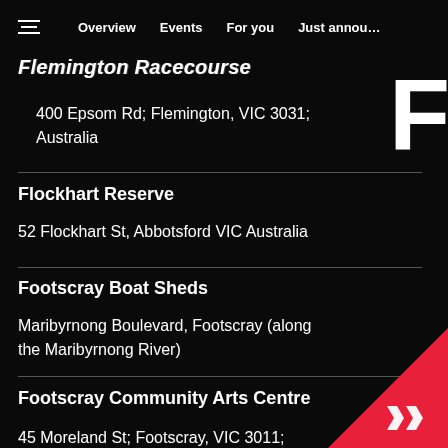Overview  Events  For you  Just announced
Flemington Racecourse
400 Epsom Rd; Flemington, VIC 3031; Australia
Flockhart Reserve
52 Flockhart St, Abbotsford VIC Australia
Footscray Boat Sheds
Maribyrnong Boulevard, Footscray (along the Maribyrnong River)
Footscray Community Arts Centre
45 Moreland St; Footscray, VIC 3011;